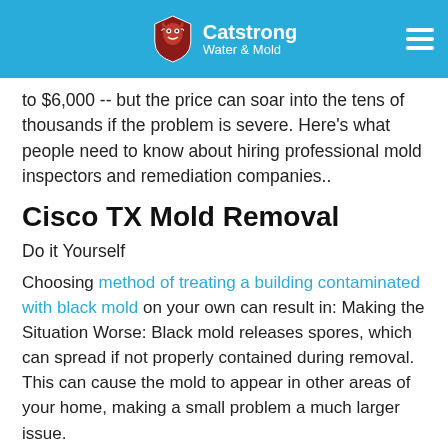Catstrong Water & Mold
to $6,000 -- but the price can soar into the tens of thousands if the problem is severe. Here's what people need to know about hiring professional mold inspectors and remediation companies..
Cisco TX Mold Removal
Do it Yourself
Choosing method of treating a building contaminated with black mold on your own can result in: Making the Situation Worse: Black mold releases spores, which can spread if not properly contained during removal. This can cause the mold to appear in other areas of your home, making a small problem a much larger issue.
Mold Remediation Process in Texas